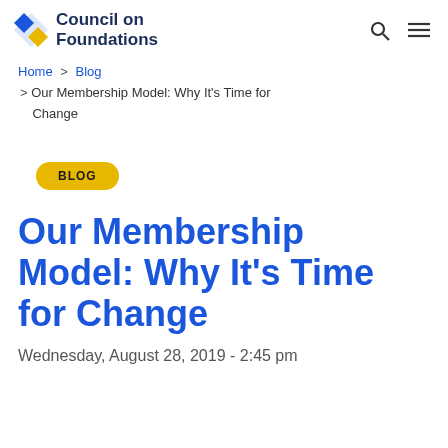Council on Foundations
Home > Blog > Our Membership Model: Why It's Time for Change
BLOG
Our Membership Model: Why It's Time for Change
Wednesday, August 28, 2019 - 2:45 pm